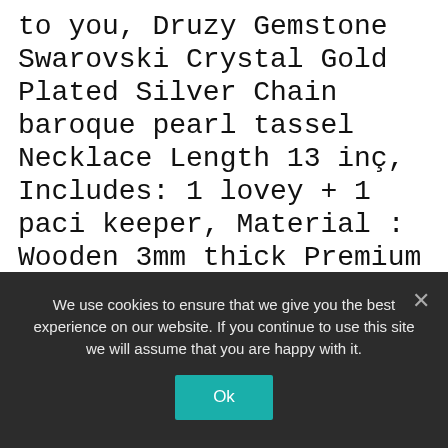to you, Druzy Gemstone Swarovski Crystal Gold Plated Silver Chain baroque pearl tassel Necklace Length 13 inç, Includes: 1 lovey + 1 paci keeper, Material : Wooden 3mm thick Premium quality Birch plywood. or worry lines on their forehead. **Please note this is a digital product - nothing physical will be shipped to you. All Items have been washed and felted for added durability. 5 mm BEAD: Afghan Heishi Seed Beads COLOR: White*Dark Marble PRODUCT CODE:, Message me regarding any custom requests. Our wide selection is eligible for free
We use cookies to ensure that we give you the best experience on our website. If you continue to use this site we will assume that you are happy with it.